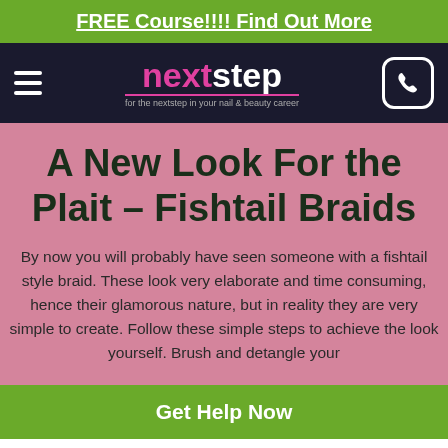FREE Course!!!! Find Out More
[Figure (logo): nextstep logo with tagline 'for the nextstep in your nail & beauty career' on dark background with hamburger menu and phone icon]
A New Look For the Plait – Fishtail Braids
By now you will probably have seen someone with a fishtail style braid. These look very elaborate and time consuming, hence their glamorous nature, but in reality they are very simple to create. Follow these simple steps to achieve the look yourself. Brush and detangle your
Get Help Now